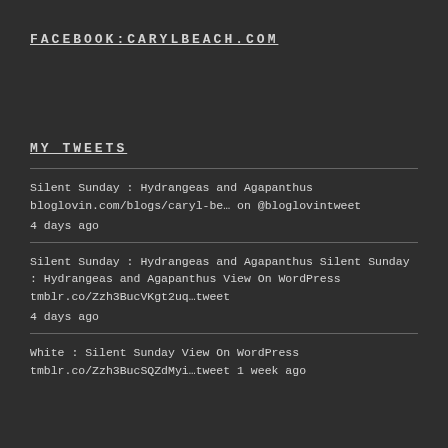FACEBOOK:CARYLBEACH.COM
MY TWEETS
Silent Sunday : Hydrangeas and Agapanthus bloglovin.com/blogs/caryl-be… on @bloglovintweet
4 days ago
Silent Sunday : Hydrangeas and Agapanthus Silent Sunday : Hydrangeas and Agapanthus View On WordPress tmblr.co/Zzh3BucVKgt2uq…tweet
4 days ago
White : Silent Sunday View On WordPress tmblr.co/Zzh3BucSQZdMyi…tweet 1 week ago